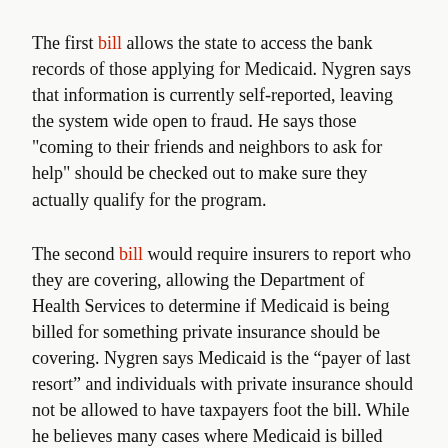The first bill allows the state to access the bank records of those applying for Medicaid. Nygren says that information is currently self-reported, leaving the system wide open to fraud. He says those "coming to their friends and neighbors to ask for help" should be checked out to make sure they actually qualify for the program.
The second bill would require insurers to report who they are covering, allowing the Department of Health Services to determine if Medicaid is being billed for something private insurance should be covering. Nygren says Medicaid is the “payer of last resort” and individuals with private insurance should not be allowed to have taxpayers foot the bill. While he believes many cases where Medicaid is billed may be a mistake, Nygren says many people may be failing to report private insurance coverage to avoid higher co-pays or deductibles.